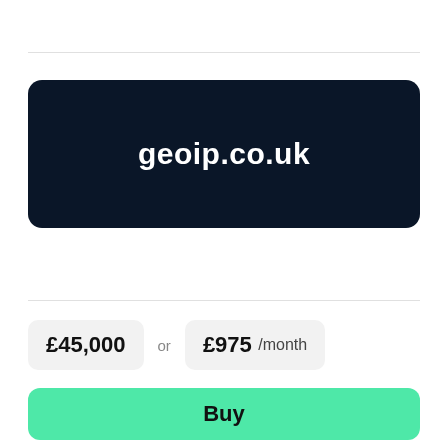geoip.co.uk
£45,000 or £975 /month
Buy